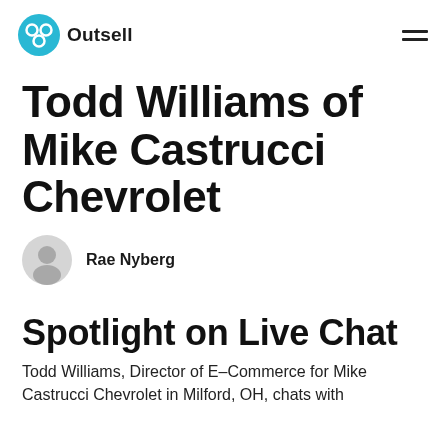Outsell
Todd Williams of Mike Castrucci Chevrolet
Rae Nyberg
Spotlight on Live Chat
Todd Williams, Director of E–Commerce for Mike Castrucci Chevrolet in Milford, OH, chats with